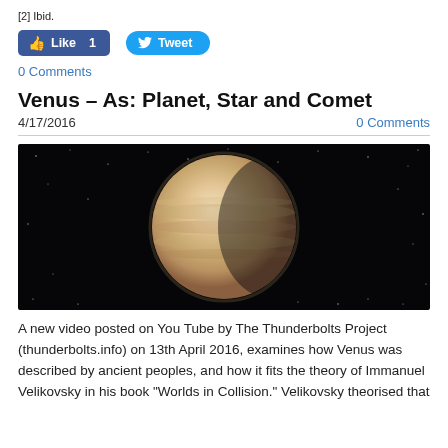[2] Ibid.
[Figure (screenshot): Facebook Like button (count: 1) and Twitter Tweet button]
0 Comments
Venus – As: Planet, Star and Comet
4/17/2016
0 Comments
[Figure (photo): Photo of Venus as a large tan/beige sphere against a black starry space background]
A new video posted on You Tube by The Thunderbolts Project (thunderbolts.info) on 13th April 2016, examines how Venus was described by ancient peoples, and how it fits the theory of Immanuel Velikovsky in his book "Worlds in Collision." Velikovsky theorised that